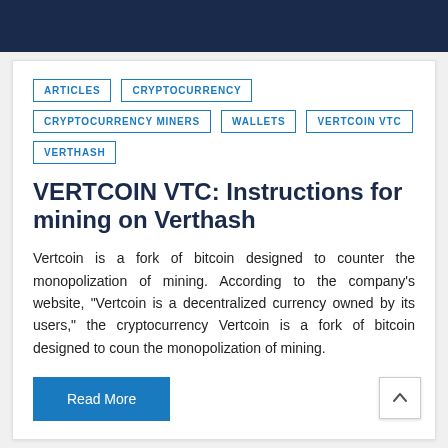ARTICLES
CRYPTOCURRENCY
CRYPTOCURRENCY MINERS
WALLETS
VERTCOIN VTC
VERTHASH
VERTCOIN VTC: Instructions for mining on Verthash
Vertcoin is a fork of bitcoin designed to counter the monopolization of mining. According to the company’s website, “Vertcoin is a decentralized currency owned by its users,” the cryptocurrency Vertcoin is a fork of bitcoin designed to coun the monopolization of mining.
Read More